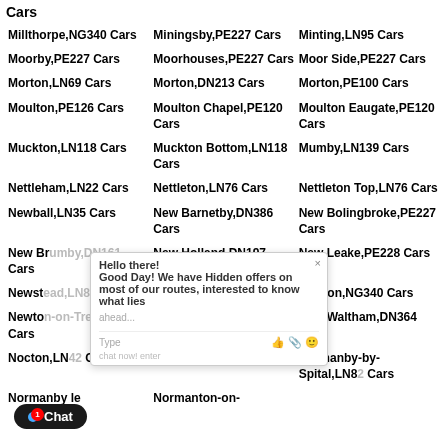Cars
Millthorpe,NG340 Cars
Miningsby,PE227 Cars
Minting,LN95 Cars
Moorby,PE227 Cars
Moorhouses,PE227 Cars
Moor Side,PE227 Cars
Morton,LN69 Cars
Morton,DN213 Cars
Morton,PE100 Cars
Moulton,PE126 Cars
Moulton Chapel,PE120 Cars
Moulton Eaugate,PE120 Cars
Muckton,LN118 Cars
Muckton Bottom,LN118 Cars
Mumby,LN139 Cars
Nettleham,LN22 Cars
Nettleton,LN76 Cars
Nettleton Top,LN76 Cars
Newball,LN35 Cars
New Barnetby,DN386 Cars
New Bolingbroke,PE227 Cars
New Brumby,DN161 Cars
New Holland,DN197 Cars
New Leake,PE228 Cars
Newstead,LN83 Cars
Newtoft,LN83 Cars
Newton,NG340 Cars
Newton-on-Trent,LN12 Cars
Newtown,PE92 Cars
New Waltham,DN364 Cars
Nocton,LN42 Cars
Normanby,DN159 Cars
Normanby-by-Spital,LN82 Cars
Normanby le
Normanton-on-